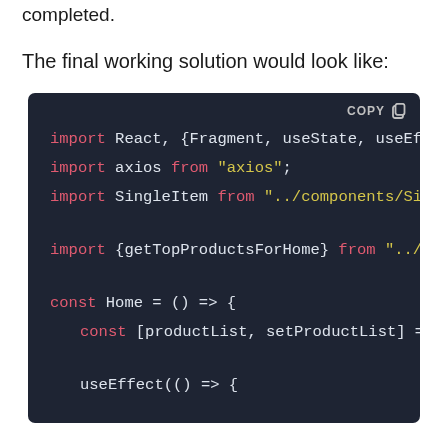completed.
The final working solution would look like:
[Figure (screenshot): Dark-themed code editor block showing JavaScript/React import statements and component definition: import React, {Fragment, useState, useEff...; import axios from "axios"; import SingleItem from "../components/Sin...; import {getTopProductsForHome} from "../."; const Home = () => {; const [productList, setProductList] =; useEffect(() => {]